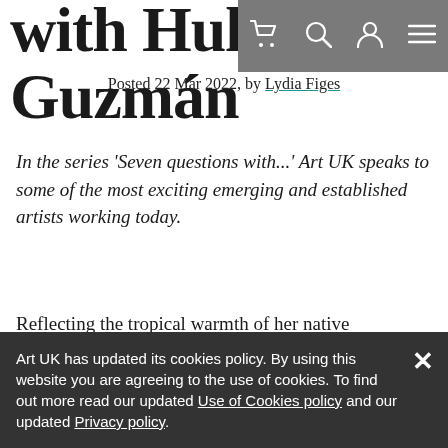with Hulda Guzmán
Posted 22 Mar 2022, by Lydia Figes
In the series 'Seven questions with...' Art UK speaks to some of the most exciting emerging and established artists working today.
Reflecting the tropical warmth of her native Dominican Republic, the artist Hulda Guzmán is concerned with creating art that captures the
Art UK has updated its cookies policy. By using this website you are agreeing to the use of cookies. To find out more read our updated Use of Cookies policy and our updated Privacy policy.